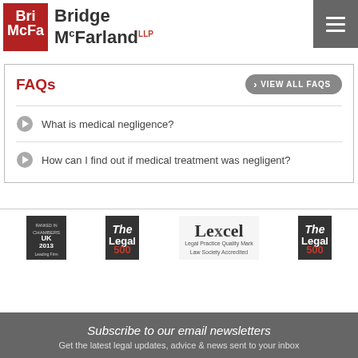[Figure (logo): Bridge McFarland LLP law firm logo with red square icon and firm name]
FAQs
What is medical negligence?
How can I find out if medical treatment was negligent?
[Figure (logo): Chambers UK 2013 Leading Firm badge]
[Figure (logo): Legal 500 badge]
[Figure (logo): Lexcel Legal Practice Quality Mark Law Society Accredited logo]
[Figure (logo): Legal 500 badge (second)]
Subscribe to our email newsletters
Get the latest legal updates, advice & news sent to your inbox